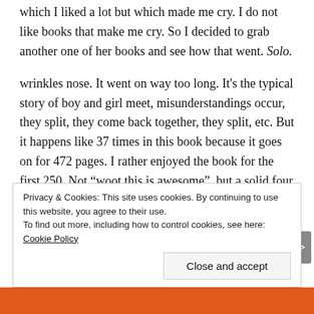which I liked a lot but which made me cry. I do not like books that make me cry. So I decided to grab another one of her books and see how that went. Solo.
wrinkles nose. It went on way too long. It's the typical story of boy and girl meet, misunderstandings occur, they split, they come back together, they split, etc. But it happens like 37 times in this book because it goes on for 472 pages. I rather enjoyed the book for the first 250. Not “woot this is awesome”, but a solid four
Privacy & Cookies: This site uses cookies. By continuing to use this website, you agree to their use.
To find out more, including how to control cookies, see here: Cookie Policy
Close and accept